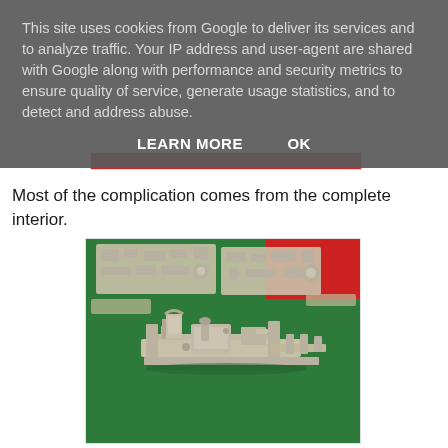This site uses cookies from Google to deliver its services and to analyze traffic. Your IP address and user-agent are shared with Google along with performance and security metrics to ensure quality of service, generate usage statistics, and to detect and address abuse.
LEARN MORE    OK
Most of the complication comes from the complete interior.
[Figure (photo): Photograph of plastic model kit parts laid out on a green cutting mat, showing sprues in the background and assembled interior components (cockpit/seat parts) in the foreground.]